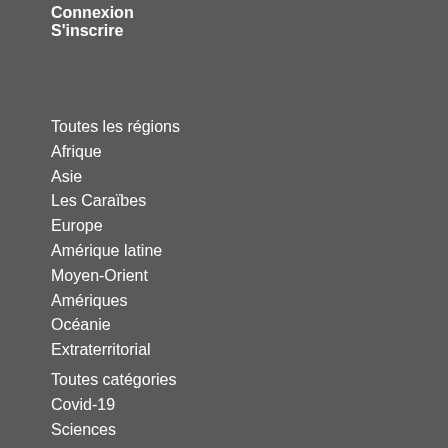Connexion
S'inscrire
Toutes les régions
Afrique
Asie
Les Caraïbes
Europe
Amérique latine
Moyen-Orient
Amériques
Océanie
Extraterritorial
Toutes catégories
Covid-19
Sciences